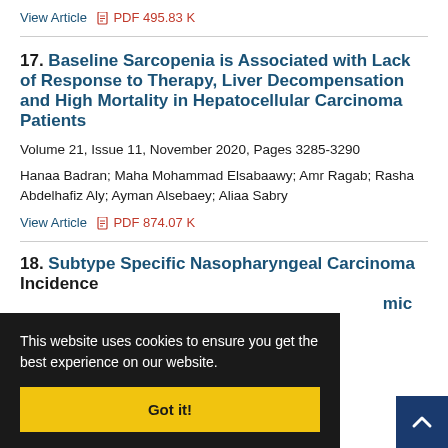View Article   PDF 495.83 K
17. Baseline Sarcopenia is Associated with Lack of Response to Therapy, Liver Decompensation and High Mortality in Hepatocellular Carcinoma Patients
Volume 21, Issue 11, November 2020, Pages 3285-3290
Hanaa Badran; Maha Mohammad Elsabaawy; Amr Ragab; Rasha Abdelhafiz Aly; Ayman Alsebaey; Aliaa Sabry
View Article   PDF 874.07 K
18. Subtype Specific Nasopharyngeal Carcinoma Incidence ... mic and Non-
299
ng; Donsuk atravoot
This website uses cookies to ensure you get the best experience on our website.
Got it!